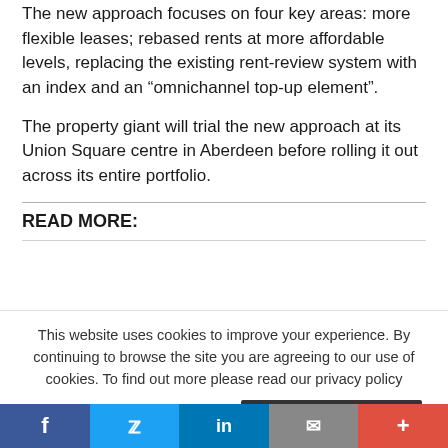The new approach focuses on four key areas: more flexible leases; rebased rents at more affordable levels, replacing the existing rent-review system with an index and an “omnichannel top-up element”.
The property giant will trial the new approach at its Union Square centre in Aberdeen before rolling it out across its entire portfolio.
READ MORE:
This website uses cookies to improve your experience. By continuing to browse the site you are agreeing to our use of cookies. To find out more please read our privacy policy
Accept - To find out more: Read our updated privacy